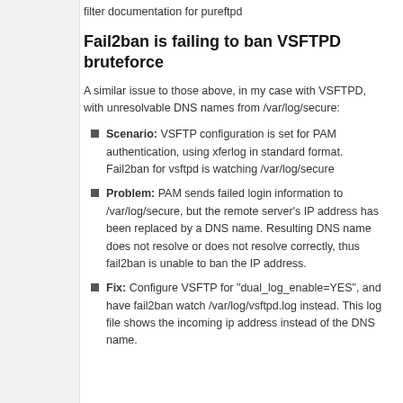filter documentation for pureftpd
Fail2ban is failing to ban VSFTPD bruteforce
A similar issue to those above, in my case with VSFTPD, with unresolvable DNS names from /var/log/secure:
Scenario: VSFTP configuration is set for PAM authentication, using xferlog in standard format. Fail2ban for vsftpd is watching /var/log/secure
Problem: PAM sends failed login information to /var/log/secure, but the remote server's IP address has been replaced by a DNS name. Resulting DNS name does not resolve or does not resolve correctly, thus fail2ban is unable to ban the IP address.
Fix: Configure VSFTP for "dual_log_enable=YES", and have fail2ban watch /var/log/vsftpd.log instead. This log file shows the incoming ip address instead of the DNS name.